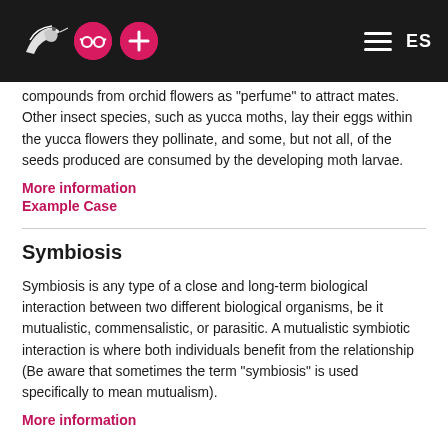ES
compounds from orchid flowers as "perfume" to attract mates. Other insect species, such as yucca moths, lay their eggs within the yucca flowers they pollinate, and some, but not all, of the seeds produced are consumed by the developing moth larvae.
More information
Example Case
Symbiosis
Symbiosis is any type of a close and long-term biological interaction between two different biological organisms, be it mutualistic, commensalistic, or parasitic. A mutualistic symbiotic interaction is where both individuals benefit from the relationship (Be aware that sometimes the term "symbiosis" is used specifically to mean mutualism).
More information